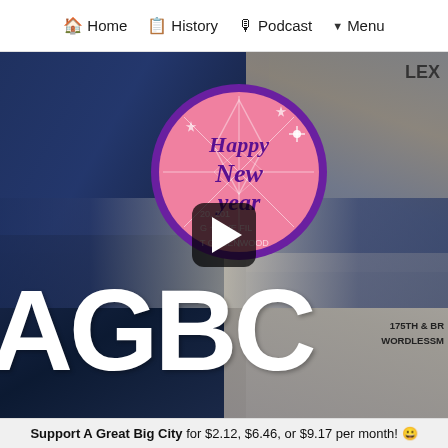🏠 Home 📋 History 🎙 Podcast ▼ Menu
[Figure (screenshot): Video thumbnail showing a torn-poster wall background with 'AGBC' in large white letters, a 'Happy New Year' circular sticker in pink and purple, partial text overlays including '175TH & BR' and 'WORDLESSM', and a play button overlay in the center.]
Support A Great Big City for $2.12, $6.46, or $9.17 per month! 😀